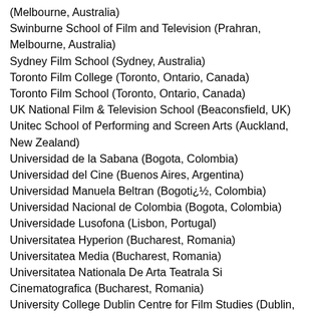(Melbourne, Australia)
Swinburne School of Film and Television (Prahran, Melbourne, Australia)
Sydney Film School (Sydney, Australia)
Toronto Film College (Toronto, Ontario, Canada)
Toronto Film School (Toronto, Ontario, Canada)
UK National Film & Television School (Beaconsfield, UK)
Unitec School of Performing and Screen Arts (Auckland, New Zealand)
Universidad de la Sabana (Bogota, Colombia)
Universidad del Cine (Buenos Aires, Argentina)
Universidad Manuela Beltran (Bogoti¿½, Colombia)
Universidad Nacional de Colombia (Bogota, Colombia)
Universidade Lusofona (Lisbon, Portugal)
Universitatea Hyperion (Bucharest, Romania)
Universitatea Media (Bucharest, Romania)
Universitatea Nationala De Arta Teatrala Si Cinematografica (Bucharest, Romania)
University College Dublin Centre for Film Studies (Dublin,